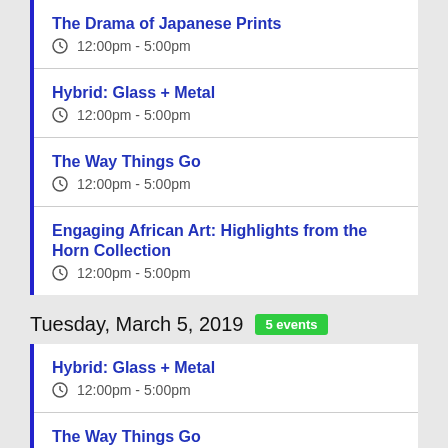The Drama of Japanese Prints
12:00pm - 5:00pm
Hybrid: Glass + Metal
12:00pm - 5:00pm
The Way Things Go
12:00pm - 5:00pm
Engaging African Art: Highlights from the Horn Collection
12:00pm - 5:00pm
Tuesday, March 5, 2019  5 events
Hybrid: Glass + Metal
12:00pm - 5:00pm
The Way Things Go